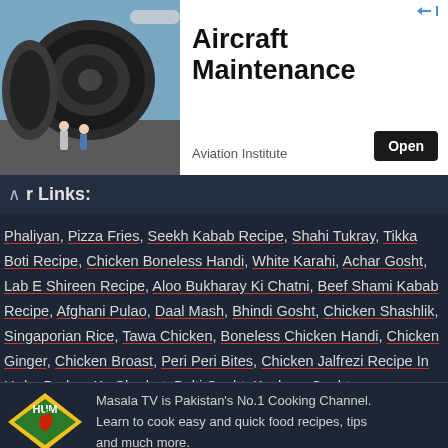[Figure (photo): Advertisement banner for Aircraft Maintenance from Aviation Institute. Left side shows a photo of airplane engines with workers. Right side shows text 'Aircraft Maintenance', an 'Open' button, and 'Aviation Institute' label.]
r Links:
Phaliyan, Pizza Fries, Seekh Kabab Recipe, Shahi Tukray, Tikka Boti Recipe, Chicken Boneless Handi, White Karahi, Achar Gosht, Lab E Shireen Recipe, Aloo Bukharay Ki Chatni, Beef Shami Kabab Recipe, Afghani Pulao, Daal Mash, Bhindi Gosht, Chicken Shashlik, Singaporian Rice, Tawa Chicken, Boneless Chicken Handi, Chicken Ginger, Chicken Broast, Peri Peri Bites, Chicken Jalfrezi Recipe In Urdu, Badam Ka Sharbat, Balti Gosht, Kachnar Gosht
[Figure (logo): HUM Masala TV logo - green and yellow diamond with red chili pepper]
Masala TV is Pakistan's No.1 Cooking Channel. Learn to cook easy and quick food recipes, tips and much more.